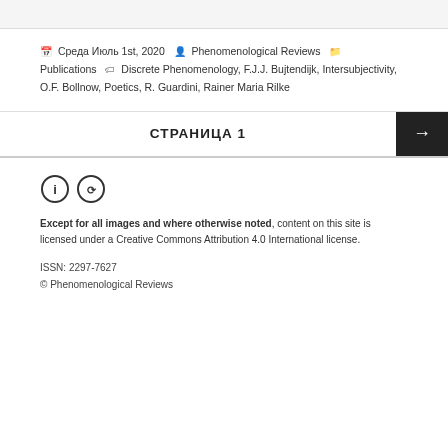Среда Июль 1st, 2020  Phenomenological Reviews Publications  Discrete Phenomenology, F.J.J. Bujtendijk, Intersubjectivity, O.F. Bollnow, Poetics, R. Guardini, Rainer Maria Rilke
СТРАНИЦА 1
[Figure (logo): Creative Commons Attribution and ShareAlike license icons — two circular CC badge icons side by side]
Except for all images and where otherwise noted, content on this site is licensed under a Creative Commons Attribution 4.0 International license.
ISSN: 2297-7627
© Phenomenological Reviews